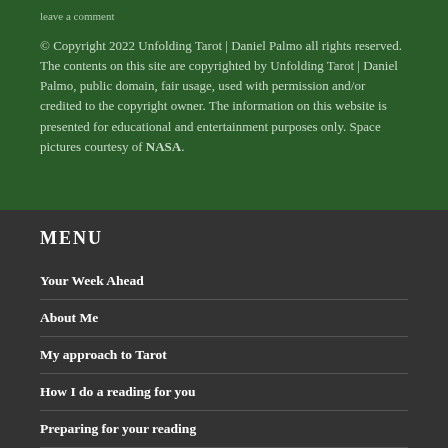leave a comment
© Copyright 2022 Unfolding Tarot | Daniel Palmo all rights reserved. The contents on this site are copyrighted by Unfolding Tarot | Daniel Palmo, public domain, fair usage, used with permission and/or credited to the copyright owner. The information on this website is presented for educational and entertainment purposes only. Space pictures courtesy of NASA.
MENU
Your Week Ahead
About Me
My approach to Tarot
How I do a reading for you
Preparing for your reading
Services